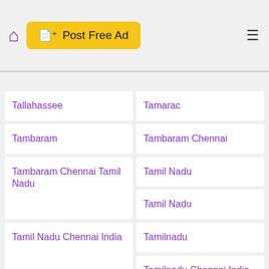[Figure (screenshot): Navigation header with home icon, Post Free Ad button in yellow, and hamburger menu icon]
Tallahassee
Tamarac
Tambaram
Tambaram Chennai
Tambaram Chennai Tamil Nadu
Tamil Nadu
Tamil Nadu
Tamil Nadu Chennai India
Tamilnadu
Tamilnadu Chennai India
Tamiment
Tamluk